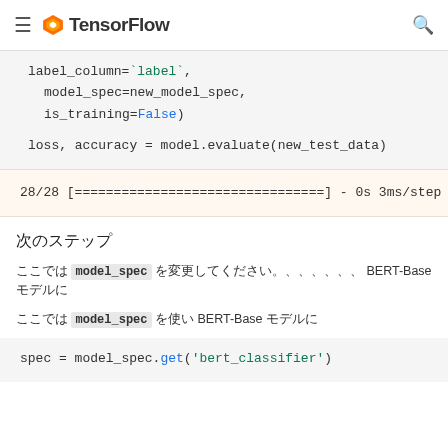TensorFlow
label_column=`label`,
    model_spec=new_model_spec,
    is_training=False)
loss, accuracy = model.evaluate(new_test_data)
28/28 [================================] - 0s 3ms/step -
次のステップ
ここでは model_spec を変更してBERT-Base モデルに
ここでは model_spec を使い BERT-Base モデルに
spec = model_spec.get('bert_classifier')